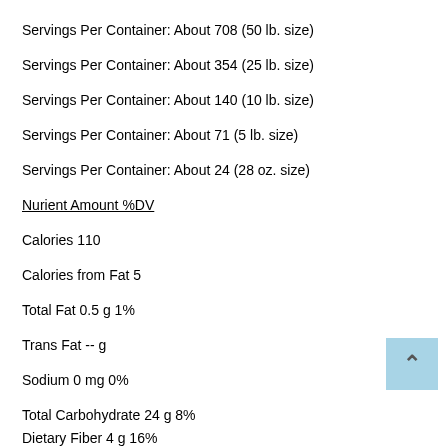Servings Per Container: About 708 (50 lb. size)
Servings Per Container: About 354 (25 lb. size)
Servings Per Container: About 140 (10 lb. size)
Servings Per Container: About 71 (5 lb. size)
Servings Per Container: About 24 (28 oz. size)
Nurient Amount %DV
Calories 110
Calories from Fat 5
Total Fat 0.5 g 1%
Trans Fat -- g
Sodium 0 mg 0%
Total Carbohydrate 24 g 8%
Dietary Fiber 4 g 16%